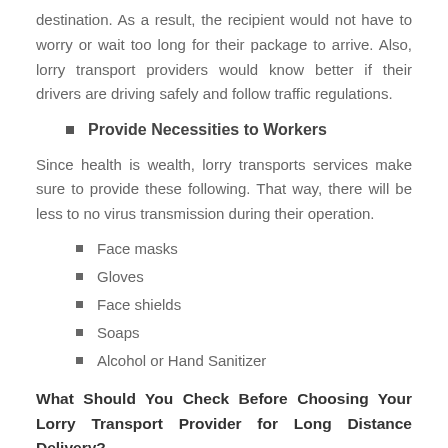destination. As a result, the recipient would not have to worry or wait too long for their package to arrive. Also, lorry transport providers would know better if their drivers are driving safely and follow traffic regulations.
Provide Necessities to Workers
Since health is wealth, lorry transports services make sure to provide these following. That way, there will be less to no virus transmission during their operation.
Face masks
Gloves
Face shields
Soaps
Alcohol or Hand Sanitizer
What Should You Check Before Choosing Your Lorry Transport Provider for Long Distance Delivery?